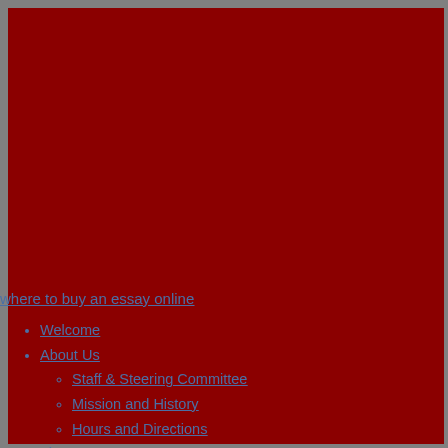where to buy an essay online
Welcome
About Us
Staff & Steering Committee
Mission and History
Hours and Directions
The Campus
Bradley House/Museum Galleries
The Swift Barn
The Yale Workshop
Boat Restoration Workshop